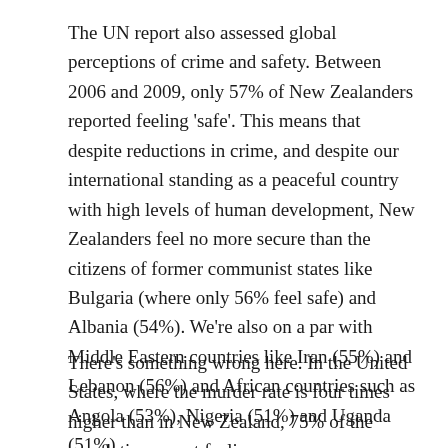The UN report also assessed global perceptions of crime and safety. Between 2006 and 2009, only 57% of New Zealanders reported feeling 'safe'. This means that despite reductions in crime, and despite our international standing as a peaceful country with high levels of human development, New Zealanders feel no more secure than the citizens of former communist states like Bulgaria (where only 56% feel safe) and Albania (54%). We're also on a par with Middle Eastern countries like Iran (55%) and Lebanon (56%) and African countries such as Angola (53%), Nigeria (51%) and Uganda (51%).
There's something wrong here. In the United States, where the murder rate is four times higher than in New Zealand, 75% of the population report feeling...